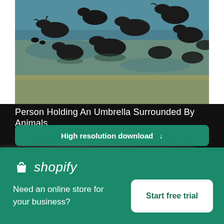[Figure (photo): Aerial or top-down photo of a group of dark water buffaloes swimming or wading in greenish-blue water]
Person Holding An Umbrella Surrounded By Animals
[Figure (other): Green download button with text 'High resolution download' and a down arrow icon]
[Figure (screenshot): Blurred image section below the main photo]
[Figure (logo): Shopify advertisement banner in green with Shopify logo, tagline 'Need an online store for your business?' and 'Start free trial' button]